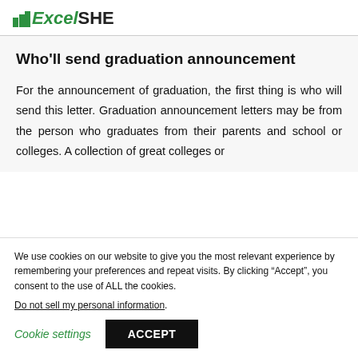ExcelSHE
Who'll send graduation announcement
For the announcement of graduation, the first thing is who will send this letter. Graduation announcement letters may be from the person who graduates from their parents and school or colleges. A collection of great colleges or
We use cookies on our website to give you the most relevant experience by remembering your preferences and repeat visits. By clicking “Accept”, you consent to the use of ALL the cookies.
Do not sell my personal information.
Cookie settings  ACCEPT